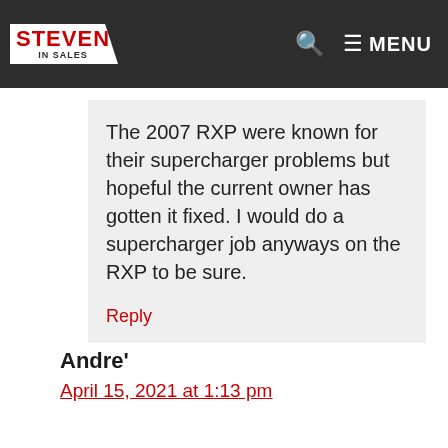Steven In Sales — MENU
The 2007 RXP were known for their supercharger problems but hopeful the current owner has gotten it fixed. I would do a supercharger job anyways on the RXP to be sure.
Reply
Andre'
April 15, 2021 at 1:13 pm